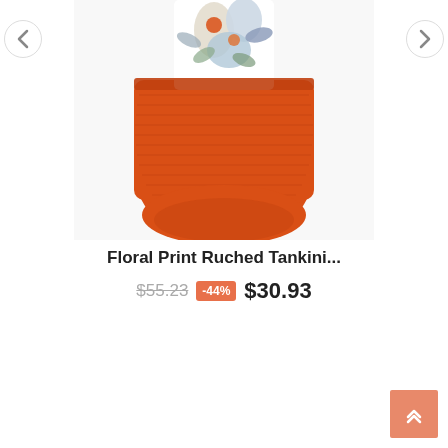[Figure (photo): Product photo of a Floral Print Ruched Tankini swimsuit with orange ruched bottom and floral print top]
Floral Print Ruched Tankini...
$55.23  -44%  $30.93